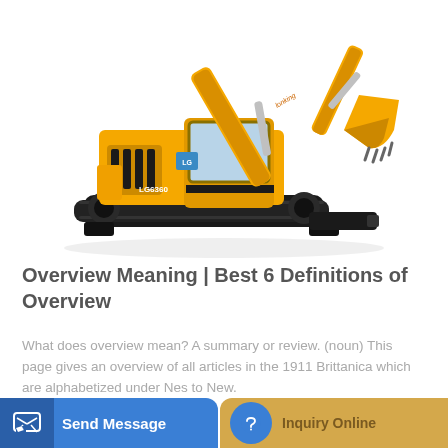[Figure (photo): Yellow crawler excavator (Lonking brand, model LG6360) on white background, showing boom, arm, bucket, cab, and undercarriage with tracks.]
Overview Meaning | Best 6 Definitions of Overview
What does overview mean? A summary or review. (noun) This page gives an overview of all articles in the 1911 Brittanica which are alphabetized under Nes to New.
Learn More
Send Message | Inquiry Online